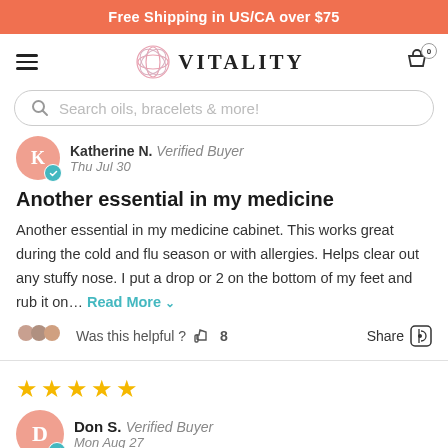Free Shipping in US/CA over $75
[Figure (logo): Vitality brand logo with geometric flower icon and text VITALITY]
Search oils, bracelets & more!
Katherine N. Verified Buyer
Thu Jul 30
Another essential in my medicine
Another essential in my medicine cabinet. This works great during the cold and flu season or with allergies. Helps clear out any stuffy nose. I put a drop or 2 on the bottom of my feet and rub it on... Read More
Was this helpful ? 8   Share
Don S. Verified Buyer
Mon Aug 27